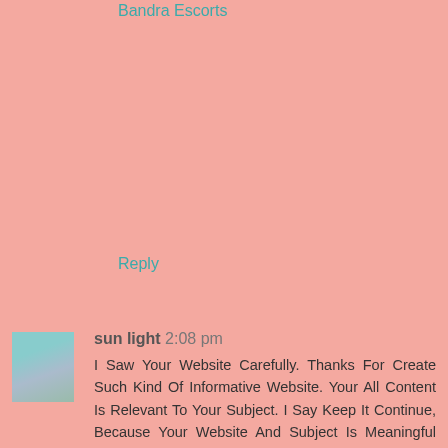Bandra Escorts
Reply
[Figure (photo): Small avatar photo of a person wearing a light blue top]
sun light 2:08 pm
I Saw Your Website Carefully. Thanks For Create Such Kind Of Informative Website. Your All Content Is Relevant To Your Subject. I Say Keep It Continue, Because Your Website And Subject Is Meaningful For The Users. I Have Recommended Your Website With My Friends Also. I Am Ritu Sharma. I Am An Independent Mumbai Escort Girl. I Deal In Mumbai Escorts service. I Am Very Hot And Sexy. Being A Mumbai Escort Girl I Have Five Years' Experience. That's Why I Understand The Each Personal Needs Of My Every Client. My Service Charge Is Low And Service Is